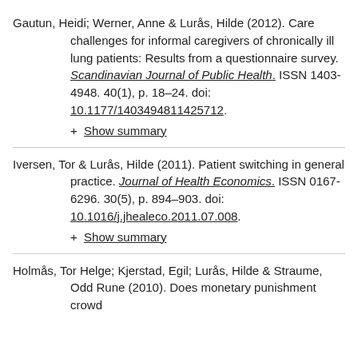Gautun, Heidi; Werner, Anne & Lurås, Hilde (2012). Care challenges for informal caregivers of chronically ill lung patients: Results from a questionnaire survey. Scandinavian Journal of Public Health. ISSN 1403-4948. 40(1), p. 18–24. doi: 10.1177/1403494811425712.
+ Show summary
Iversen, Tor & Lurås, Hilde (2011). Patient switching in general practice. Journal of Health Economics. ISSN 0167-6296. 30(5), p. 894–903. doi: 10.1016/j.jhealeco.2011.07.008.
+ Show summary
Holmås, Tor Helge; Kjerstad, Egil; Lurås, Hilde & Straume, Odd Rune (2010). Does monetary punishment crowd